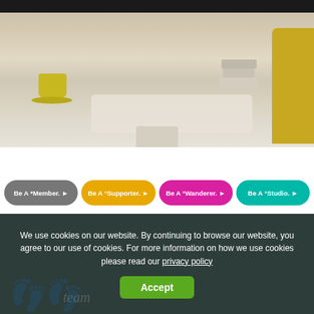[Figure (photo): Desktop workspace photo showing an iMac computer on a white desk with a yellow coffee cup on a saucer, a white Apple keyboard, stacked books, and a yellow chair/object on the right. A dark monitor top bar is visible. Warm beige/tan tones.]
Be A *Member. ▶
Be A °Supporter. ▶
Be A °Wanderer. ▶
Be A °Studio. ▶
We use cookies on our website. By continuing to browse our website, you agree to our use of cookies. For more information on how we use cookies please read our privacy policy